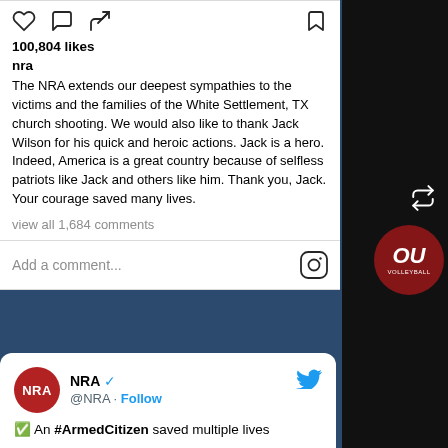[Figure (screenshot): Instagram post from NRA showing action icons (heart, comment, share, bookmark), 100,804 likes, username 'nra', post caption about White Settlement TX church shooting, view all 1,684 comments link, and Add a comment input with Instagram logo]
100,804 likes
nra
The NRA extends our deepest sympathies to the victims and the families of the White Settlement, TX church shooting. We would also like to thank Jack Wilson for his quick and heroic actions. Jack is a hero. Indeed, America is a great country because of selfless patriots like Jack and others like him. Thank you, Jack. Your courage saved many lives.
view all 1,684 comments
[Figure (screenshot): Twitter/X card showing NRA account (@NRA) with Follow button and blue bird logo, beginning of tweet about An #ArmedCitizen saved multiple lives]
NRA @NRA · Follow
An #ArmedCitizen saved multiple lives